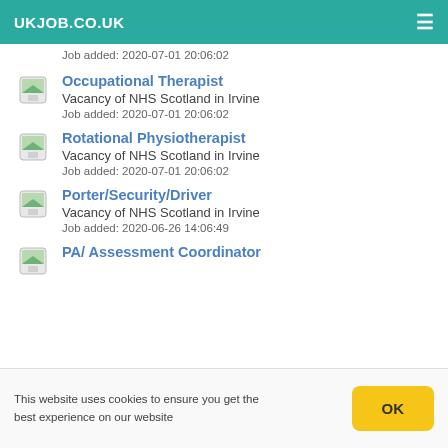UKJOB.CO.UK
Job added: 2020-07-01 20:06:02
Occupational Therapist
Vacancy of NHS Scotland in Irvine
Job added: 2020-07-01 20:06:02
Rotational Physiotherapist
Vacancy of NHS Scotland in Irvine
Job added: 2020-07-01 20:06:02
Porter/Security/Driver
Vacancy of NHS Scotland in Irvine
Job added: 2020-06-26 14:06:49
PA/ Assessment Coordinator
This website uses cookies to ensure you get the best experience on our website